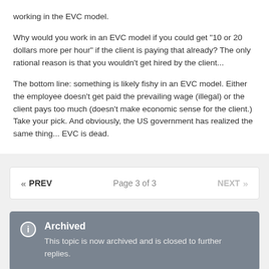working in the EVC model.
Why would you work in an EVC model if you could get "10 or 20 dollars more per hour" if the client is paying that already? The only rational reason is that you wouldn't get hired by the client...
The bottom line: something is likely fishy in an EVC model. Either the employee doesn't get paid the prevailing wage (illegal) or the client pays too much (doesn't make economic sense for the client.) Take your pick. And obviously, the US government has realized the same thing... EVC is dead.
« PREV   Page 3 of 3   NEXT »
Archived
This topic is now archived and is closed to further replies.